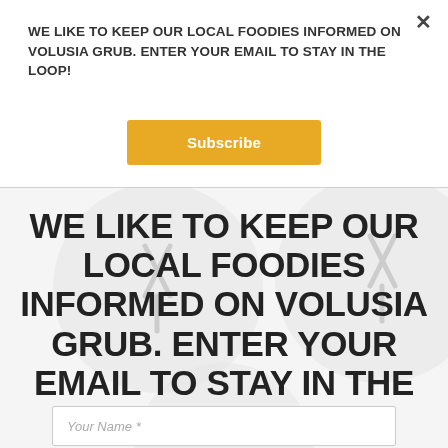WE LIKE TO KEEP OUR LOCAL FOODIES INFORMED ON VOLUSIA GRUB. ENTER YOUR EMAIL TO STAY IN THE LOOP!
Subscribe
WE LIKE TO KEEP OUR LOCAL FOODIES INFORMED ON VOLUSIA GRUB. ENTER YOUR EMAIL TO STAY IN THE LOOP!
Your Name *